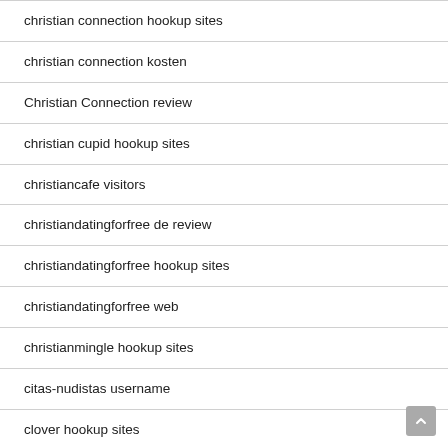christian connection hookup sites
christian connection kosten
Christian Connection review
christian cupid hookup sites
christiancafe visitors
christiandatingforfree de review
christiandatingforfree hookup sites
christiandatingforfree web
christianmingle hookup sites
citas-nudistas username
clover hookup sites
cofee meet bagel review